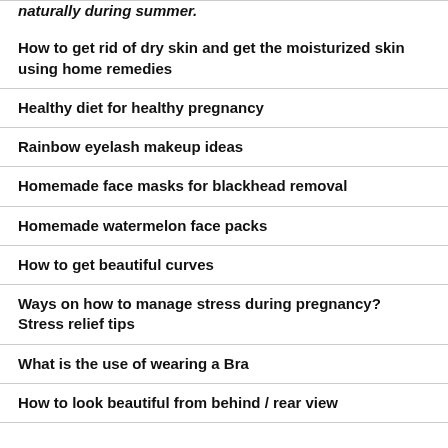naturally during summer.
How to get rid of dry skin and get the moisturized skin using home remedies
Healthy diet for healthy pregnancy
Rainbow eyelash makeup ideas
Homemade face masks for blackhead removal
Homemade watermelon face packs
How to get beautiful curves
Ways on how to manage stress during pregnancy? Stress relief tips
What is the use of wearing a Bra
How to look beautiful from behind / rear view